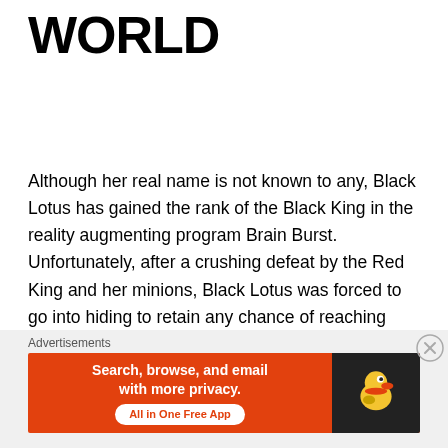WORLD
Although her real name is not known to any, Black Lotus has gained the rank of the Black King in the reality augmenting program Brain Burst. Unfortunately, after a crushing defeat by the Red King and her minions, Black Lotus was forced to go into hiding to retain any chance of reaching level 10 and defeating all “six kings of pure color”. In the real world, she knows throughout Umesato Junior High School as one of the most popular students and also acts the Student Council Vice-President, giving her quite the high status.
Advertisements
[Figure (other): DuckDuckGo advertisement banner: orange background with text 'Search, browse, and email with more privacy. All in One Free App' and DuckDuckGo duck logo on dark right panel.]